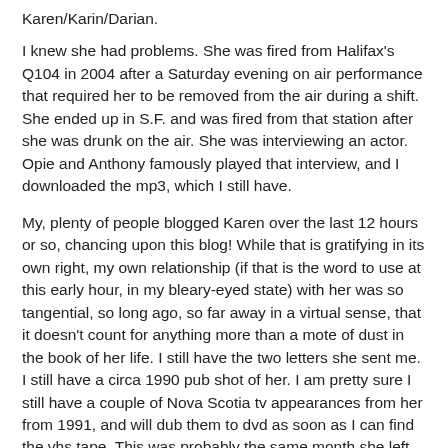Karen/Karin/Darian.
I knew she had problems. She was fired from Halifax's Q104 in 2004 after a Saturday evening on air performance that required her to be removed from the air during a shift. She ended up in S.F. and was fired from that station after she was drunk on the air. She was interviewing an actor. Opie and Anthony famously played that interview, and I downloaded the mp3, which I still have.
My, plenty of people blogged Karen over the last 12 hours or so, chancing upon this blog! While that is gratifying in its own right, my own relationship (if that is the word to use at this early hour, in my bleary-eyed state) with her was so tangential, so long ago, so far away in a virtual sense, that it doesn't count for anything more than a mote of dust in the book of her life. I still have the two letters she sent me. I still have a circa 1990 pub shot of her. I am pretty sure I still have a couple of Nova Scotia tv appearances from her from 1991, and will dub them to dvd as soon as I can find the vhs tape. This was probably the same month she left the province to try her luck in the U.S.